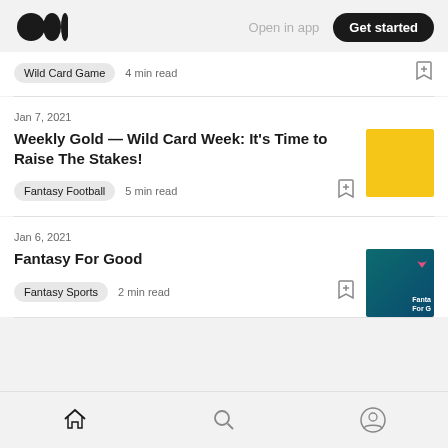Medium logo | Open in app | Get started
Wild Card Game  4 min read
Jan 7, 2021
Weekly Gold — Wild Card Week: It's Time to Raise The Stakes!
Fantasy Football  5 min read
[Figure (photo): Yellow square thumbnail for Weekly Gold article]
Jan 6, 2021
Fantasy For Good
Fantasy Sports  2 min read
[Figure (screenshot): Dark teal thumbnail with text 'Fantasy For Good' for Fantasy For Good article]
Bottom navigation: Home, Search, Profile